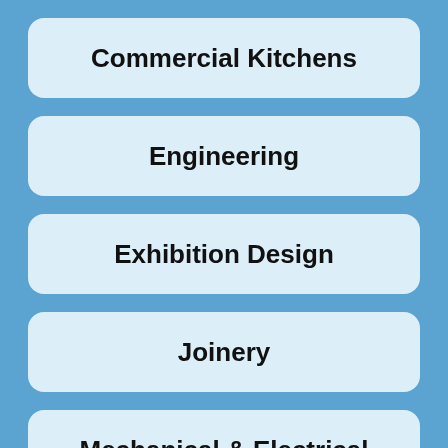Commercial Kitchens
Engineering
Exhibition Design
Joinery
Mechanical & Electrical